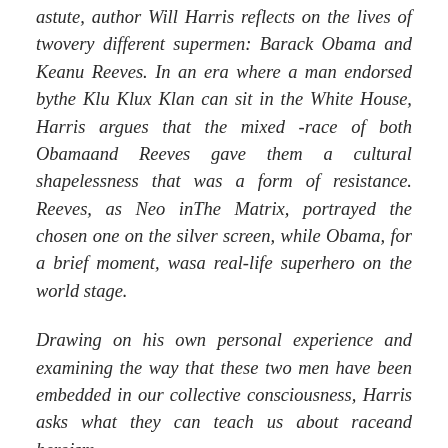astute, author Will Harris reflects on the lives of two very different supermen: Barack Obama and Keanu Reeves. In an era where a man endorsed by the Klu Klux Klan can sit in the White House, Harris argues that the mixed -race of both Obama and Reeves gave them a cultural shapelessness that was a form of resistance. Reeves, as Neo in The Matrix, portrayed the chosen one on the silver screen, while Obama, for a brief moment, was a real-life superhero on the world stage.
Drawing on his own personal experience and examining the way that these two men have been embedded in our collective consciousness, Harris asks what they can teach us about race and heroism.